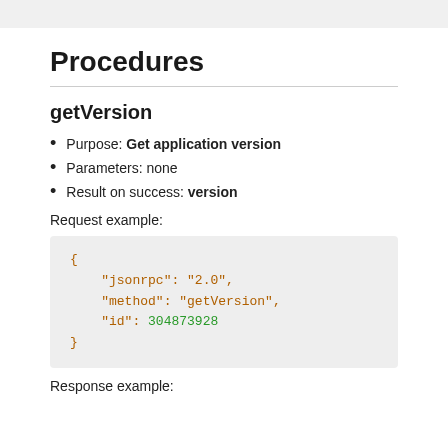Procedures
getVersion
Purpose: Get application version
Parameters: none
Result on success: version
Request example:
{
    "jsonrpc": "2.0",
    "method": "getVersion",
    "id": 304873928
}
Response example: